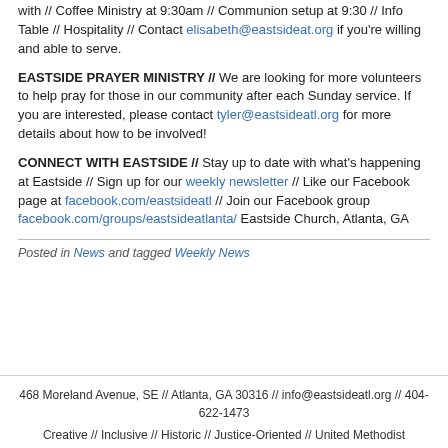with // Coffee Ministry at 9:30am // Communion setup at 9:30 // Info Table // Hospitality // Contact elisabeth@eastsideat.org if you're willing and able to serve.
EASTSIDE PRAYER MINISTRY // We are looking for more volunteers to help pray for those in our community after each Sunday service. If you are interested, please contact tyler@eastsideatl.org for more details about how to be involved!
CONNECT WITH EASTSIDE // Stay up to date with what's happening at Eastside // Sign up for our weekly newsletter // Like our Facebook page at facebook.com/eastsideatl // Join our Facebook group facebook.com/groups/eastsideatlanta/ Eastside Church, Atlanta, GA
Posted in News and tagged Weekly News
468 Moreland Avenue, SE // Atlanta, GA 30316 // info@eastsideatl.org // 404-622-1473
Creative // Inclusive // Historic // Justice-Oriented // United Methodist